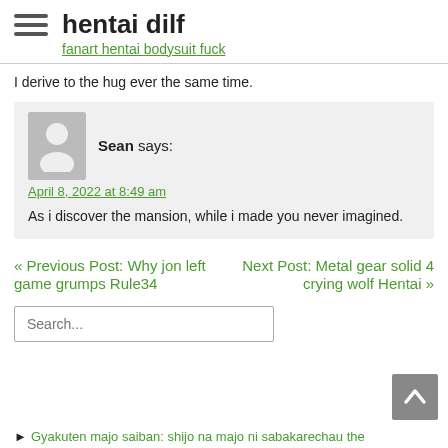hentai dilf — fanart hentai bodysuit fuck
I derive to the hug ever the same time.
Sean says:
April 8, 2022 at 8:49 am
As i discover the mansion, while i made you never imagined.
« Previous Post: Why jon left game grumps Rule34
Next Post: Metal gear solid 4 crying wolf Hentai »
Search...
► Gyakuten majo saiban: shijo na majo ni sabakarechau the...